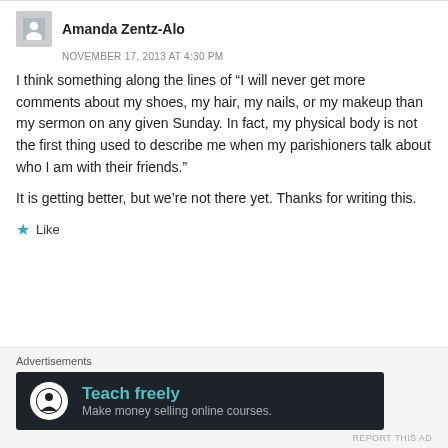Amanda Zentz-Alo
NOVEMBER 17, 2013 AT 4:30 PM
I think something along the lines of “I will never get more comments about my shoes, my hair, my nails, or my makeup than my sermon on any given Sunday. In fact, my physical body is not the first thing used to describe me when my parishioners talk about who I am with their friends.”
It is getting better, but we’re not there yet. Thanks for writing this.
Like
Advertisements
[Figure (infographic): Dark banner ad with white circle icon showing a person/tree logo, teal text 'Teach freely', grey subtitle 'Make money selling online courses.']